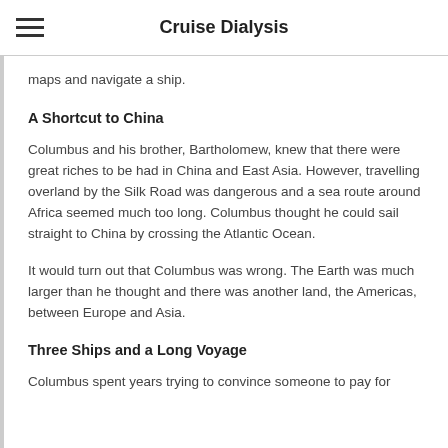Cruise Dialysis
maps and navigate a ship.
A Shortcut to China
Columbus and his brother, Bartholomew, knew that there were great riches to be had in China and East Asia. However, travelling overland by the Silk Road was dangerous and a sea route around Africa seemed much too long. Columbus thought he could sail straight to China by crossing the Atlantic Ocean.
It would turn out that Columbus was wrong. The Earth was much larger than he thought and there was another land, the Americas, between Europe and Asia.
Three Ships and a Long Voyage
Columbus spent years trying to convince someone to pay for